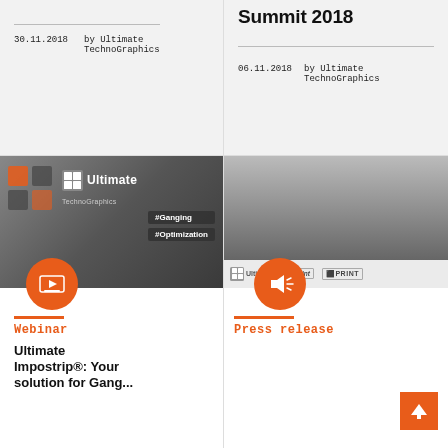30.11.2018   by Ultimate TechnoGraphics
Workflow Summit 2018
06.11.2018   by Ultimate TechnoGraphics
[Figure (photo): Webinar thumbnail image with Ultimate TechnoGraphics logo, #Ganging and #Optimization hashtag labels, play button circle overlay]
Webinar
Ultimate Impostrip®: Your solution for Gang...
[Figure (photo): Press release thumbnail with city skyline (Shanghai), Ultimate, Mr. Print and PRINT logos strip, speaker/megaphone circle overlay]
Press release